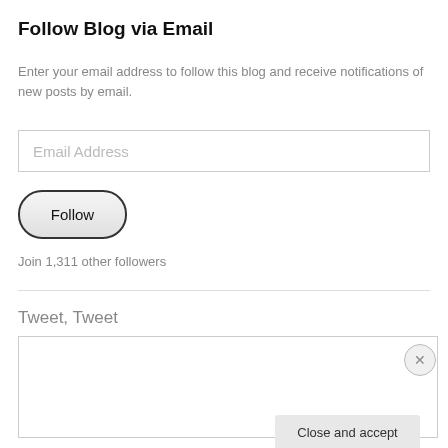Follow Blog via Email
Enter your email address to follow this blog and receive notifications of new posts by email.
Email Address
Follow
Join 1,311 other followers
Tweet, Tweet
Privacy & Cookies: This site uses cookies. By continuing to use this website, you agree to their use.
To find out more, including how to control cookies, see here: Cookie Policy
Close and accept